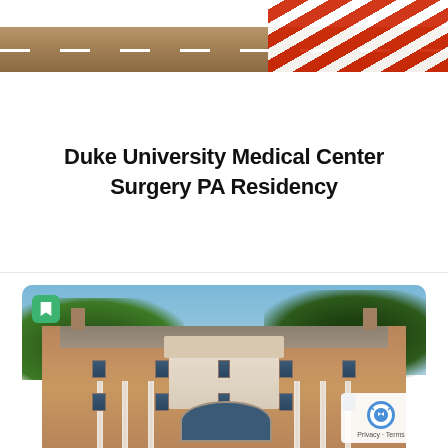[Figure (photo): Top portion showing a road/racetrack surface with red and white diagonal stripes on the right side]
Duke University Medical Center Surgery PA Residency
[Figure (photo): Photograph of a large brick colonial-style building (Duke University Medical Center) with columns, chimneys, and a central portico, set against blue sky and green trees. A green bookmark icon appears in the top-left corner. A reCAPTCHA Privacy-Terms badge is in the bottom-right corner.]